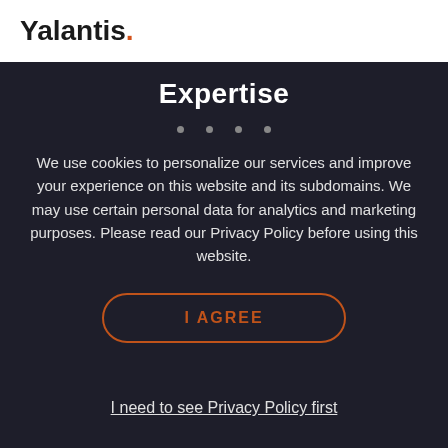Yalantis
Expertise
We use cookies to personalize our services and improve your experience on this website and its subdomains. We may use certain personal data for analytics and marketing purposes. Please read our Privacy Policy before using this website.
I AGREE
I need to see Privacy Policy first